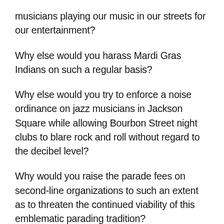musicians playing our music in our streets for our entertainment?
Why else would you harass Mardi Gras Indians on such a regular basis?
Why else would you try to enforce a noise ordinance on jazz musicians in Jackson Square while allowing Bourbon Street night clubs to blare rock and roll without regard to the decibel level?
Why would you raise the parade fees on second-line organizations to such an extent as to threaten the continued viability of this emblematic parading tradition?